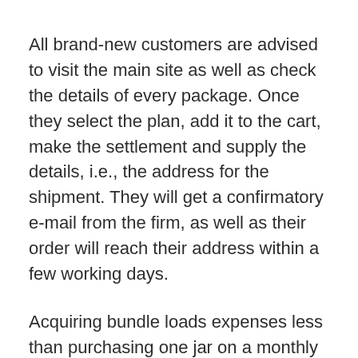All brand-new customers are advised to visit the main site as well as check the details of every package. Once they select the plan, add it to the cart, make the settlement and supply the details, i.e., the address for the shipment. They will get a confirmatory e-mail from the firm, as well as their order will reach their address within a few working days.
Acquiring bundle loads expenses less than purchasing one jar on a monthly basis. Furthermore, there are no shipment charges suitable on bulk acquisitions. If you are seeking a cost effective alternative, do not buy one container and also invest your cash on 3 jars or 6 containers pack and conserve maximum money.